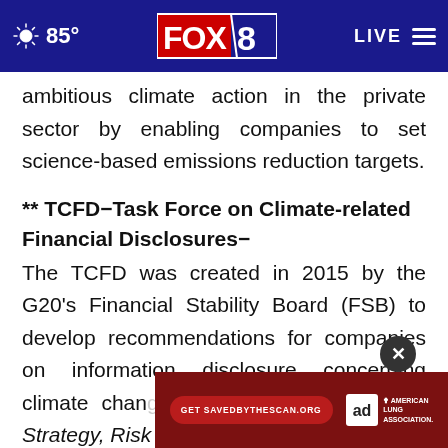FOX 8 | 85° | LIVE
ambitious climate action in the private sector by enabling companies to set science-based emissions reduction targets.
** TCFD−Task Force on Climate-related Financial Disclosures−
The TCFD was created in 2015 by the G20's Financial Stability Board (FSB) to develop recommendations for companies on information disclosure concerning climate change... and four thematic areas: Governance, Strategy, Risk Management
[Figure (screenshot): Advertisement banner: 'Get SAVEDBYTHESCAN.ORG' button, Ad Council logo, American Lung Association logo, with close (X) button]